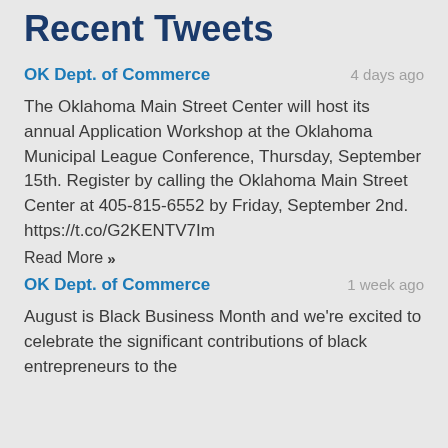Recent Tweets
OK Dept. of Commerce
4 days ago
The Oklahoma Main Street Center will host its annual Application Workshop at the Oklahoma Municipal League Conference, Thursday, September 15th. Register by calling the Oklahoma Main Street Center at 405-815-6552 by Friday, September 2nd. https://t.co/G2KENTV7Im
Read More »
OK Dept. of Commerce
1 week ago
August is Black Business Month and we're excited to celebrate the significant contributions of black entrepreneurs to the